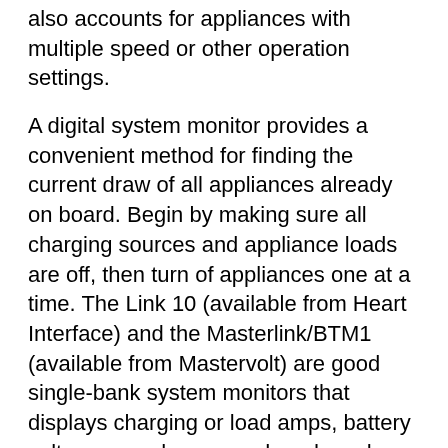also accounts for appliances with multiple speed or other operation settings.
A digital system monitor provides a convenient method for finding the current draw of all appliances already on board. Begin by making sure all charging sources and appliance loads are off, then turn of appliances one at a time. The Link 10 (available from Heart Interface) and the Masterlink/BTM1 (available from Mastervolt) are good single-bank system monitors that displays charging or load amps, battery voltage, amp-hours used, and much more. The Link 20 and Masterlink/BTM2 monitor dual house banks. The SALT Systems Monitor (available from Sea, Air & Land Technologies) is an accurate, simple-to-use device that can monitor up to four battery banks or charging sources, has